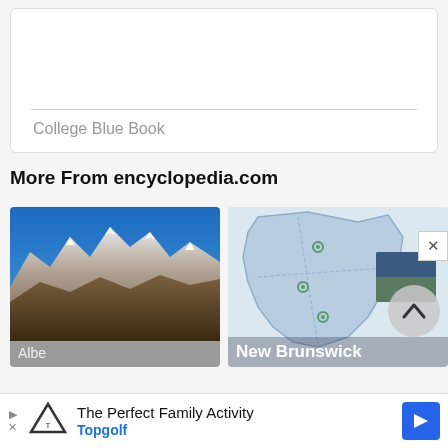College Blue Book
More From encyclopedia.com
[Figure (photo): Snow-capped mountain range with blue sky, labeled Alberta]
[Figure (map): Map of New Brunswick with road/region overlays]
[Figure (other): Advertisement bar: The Perfect Family Activity - Topgolf]